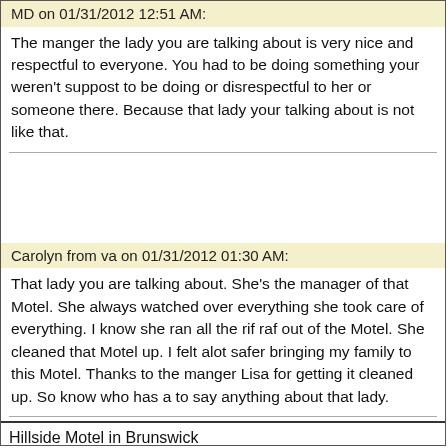MD on 01/31/2012 12:51 AM:
The manger the lady you are talking about is very nice and respectful to everyone. You had to be doing something your weren't suppost to be doing or disrespectful to her or someone there. Because that lady your talking about is not like that.
Carolyn from va on 01/31/2012 01:30 AM:
That lady you are talking about. She's the manager of that Motel. She always watched over everything she took care of everything. I know she ran all the rif raf out of the Motel. She cleaned that Motel up. I felt alot safer bringing my family to this Motel. Thanks to the manger Lisa for getting it cleaned up. So know who has a to say anything about that lady.
Hillside Motel in Brunswick
Mr.Jackson from Md on 01/31/2012 01:10 AM:
I'm really sorry to hear that the young lady that has been